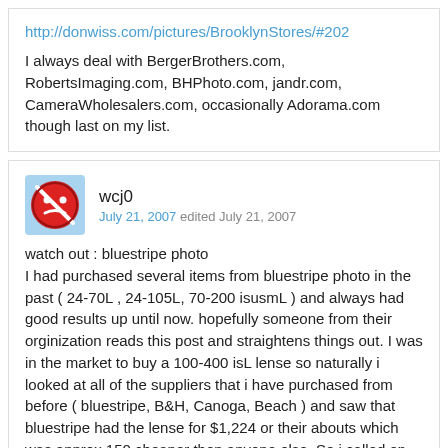http://donwiss.com/pictures/BrooklynStores/#202
I always deal with BergerBrothers.com, RobertsImaging.com, BHPhoto.com, jandr.com, CameraWholesalers.com, occasionally Adorama.com though last on my list.
wcj0
July 21, 2007 edited July 21, 2007
watch out : bluestripe photo
I had purchased several items from bluestripe photo in the past ( 24-70L , 24-105L, 70-200 isusmL ) and always had good results up until now. hopefully someone from their orginization reads this post and straightens things out. I was in the market to buy a 100-400 isL lense so naturally i looked at all of the suppliers that i have purchased from before ( bluestripe, B&H, Canoga, Beach ) and saw that bluestripe had the lense for $1,224 or their abouts which was approx 150 cheaper then anyone else. So i called on thursday to conferm the price on line. the gentlemen that I spoke to verified the price and I told him that I was a repeat customer and would